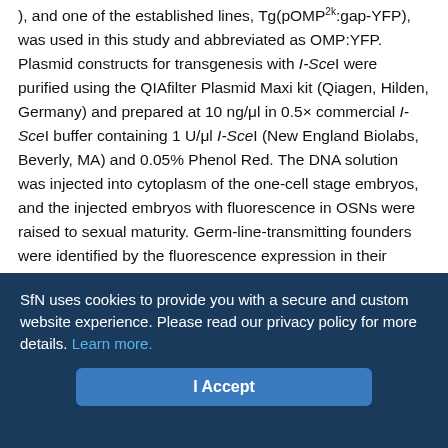), and one of the established lines, Tg(pOMP2k:gap-YFP), was used in this study and abbreviated as OMP:YFP. Plasmid constructs for transgenesis with I-SceI were purified using the QIAfilter Plasmid Maxi kit (Qiagen, Hilden, Germany) and prepared at 10 ng/μl in 0.5× commercial I-SceI buffer containing 1 U/μl I-SceI (New England Biolabs, Beverly, MA) and 0.05% Phenol Red. The DNA solution was injected into cytoplasm of the one-cell stage embryos, and the injected embryos with fluorescence in OSNs were raised to sexual maturity. Germ-line-transmitting founders were identified by the fluorescence expression in their progeny to generate transgenic lines. One transgenic line was generated from each construct and termed as follows: Tg(pOMP2k:gap-CFP)rw034a (abbreviated as OMP:CFP), Tg(pOMP2k:lyn-mRFP)rw035a (OMP:RFP), Tg(pTRPC2k:gap-Venus)rw036a, and
SfN uses cookies to provide you with a secure and custom website experience. Please read our privacy policy for more details. Learn more.